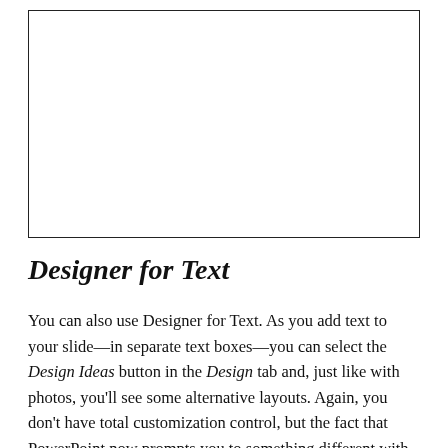[Figure (other): Empty white rectangle with black border, representing a slide or image placeholder]
Designer for Text
You can also use Designer for Text. As you add text to your slide—in separate text boxes—you can select the Design Ideas button in the Design tab and, just like with photos, you'll see some alternative layouts. Again, you don't have total customization control, but the fact that PowerPoint now prompts you to something different with your text is,